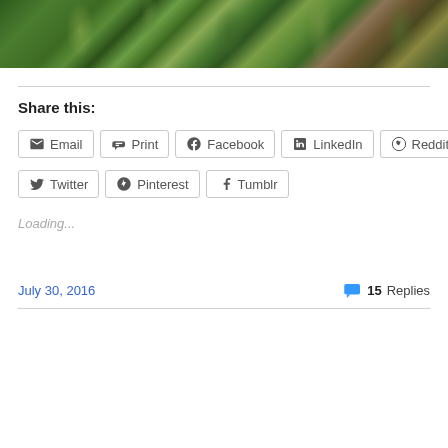[Figure (photo): Photograph of dense green vegetation, grasses and plants viewed close-up]
Share this:
Email
Print
Facebook
LinkedIn
Reddit
Twitter
Pinterest
Tumblr
Loading...
July 30, 2016
15 Replies